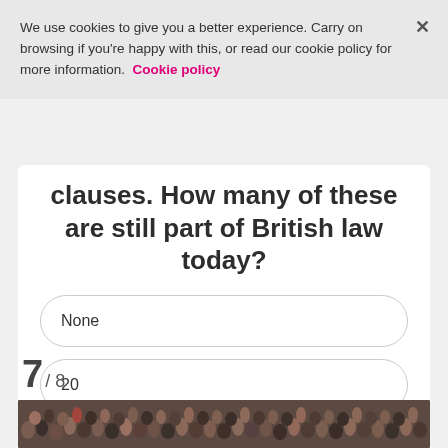We use cookies to give you a better experience. Carry on browsing if you're happy with this, or read our cookie policy for more information. Cookie policy
clauses. How many of these are still part of British law today?
None
20
3
7 / 8
[Figure (photo): A large crowd of people viewed from above]